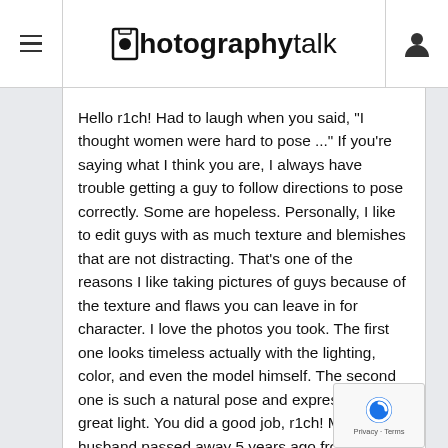photographytalk
Hello r1ch! Had to laugh when you said, "I thought women were hard to pose ..." If you're saying what I think you are, I always have trouble getting a guy to follow directions to pose correctly. Some are hopeless. Personally, I like to edit guys with as much texture and blemishes that are not distracting. That's one of the reasons I like taking pictures of guys because of the texture and flaws you can leave in for character. I love the photos you took. The first one looks timeless actually with the lighting, color, and even the model himself. The second one is such a natural pose and expression with great light. You did a good job, r1ch! My first husband passed away 5 years ago from cancer. That second picture looks nearly exactly like him! Very weird. So, how do you get the right...? What are they for? How are you...?